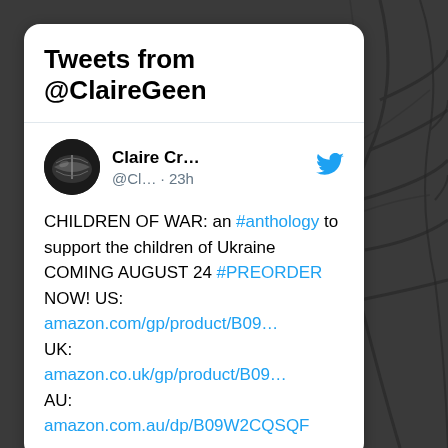Tweets from @ClaireGeen
[Figure (illustration): Circular avatar with black and white image of an open book]
Claire Cr... @Cl... · 23h
CHILDREN OF WAR: an #anthology to support the children of Ukraine COMING AUGUST 24 #PREORDER NOW! US: amazon.com/gp/product/B09… UK: amazon.co.uk/gp/product/B09… AU: amazon.com.au/dp/B09W2CQSQF